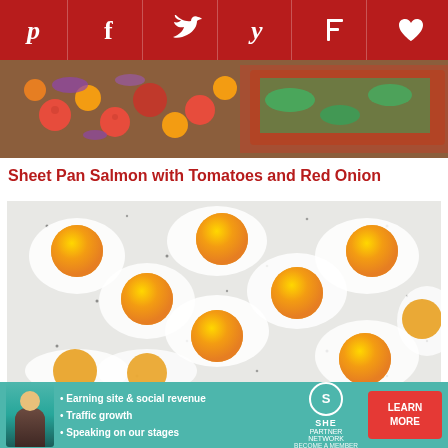Pinterest Facebook Twitter Yummly Flipboard Favorites
[Figure (photo): Sheet pan with salmon, cherry tomatoes (red and orange), and chopped red onion on a wooden board]
Sheet Pan Salmon with Tomatoes and Red Onion
[Figure (photo): Overhead view of sheet pan eggs - multiple fried eggs with golden yolks arranged on a white background with black pepper]
Sheet Pan Eggs
[Figure (photo): Partial view of a sheet pan dish with vegetables]
[Figure (infographic): SHE Partner Network advertisement banner with avatar, bullet points: Earning site & social revenue, Traffic growth, Speaking on our stages. LEARN MORE button.]